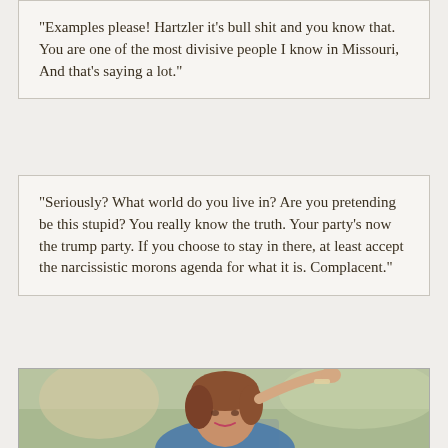“Examples please! Hartzler it’s bull shit and you know that. You are one of the most divisive people I know in Missouri, And that’s saying a lot.”
“Seriously? What world do you live in? Are you pretending be this stupid? You really know the truth. Your party’s now the trump party. If you choose to stay in there, at least accept the narcissistic morons agenda for what it is. Complacent.”
[Figure (photo): A woman with brown hair smiling and gesturing with one hand raised, wearing a bracelet, outdoors with blurred background.]